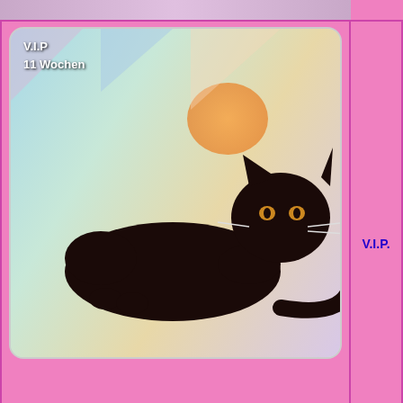[Figure (photo): Black cat kitten lying on colorful blanket, labeled V.I.P 11 Wochen]
V.I.P.
V.I.P
11 Wochen
Unsere U-linge
Geboren am 20.04.2016
|  | Name | G |
| --- | --- | --- |
[Figure (photo): Orange/ginger cat kitten labeled Unikat 12 Wochen on purple background with white circles]
Unikat
12 Wochen